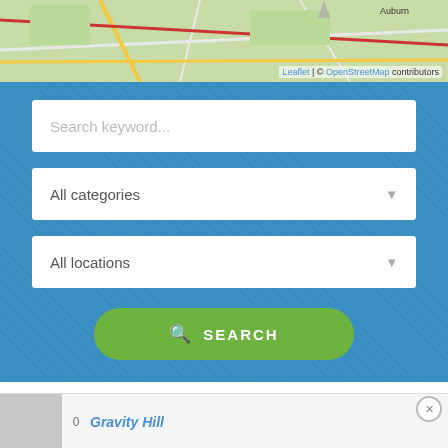[Figure (map): Partial map view of Alabama area with roads, greenery, and a location marker. Bottom-right shows attribution: Leaflet | © OpenStreetMap contributors]
Search keyword...
All categories
All locations
SEARCH
HAUNTED PLACES IN MIGNON, ALABAMA
Gravity Hill